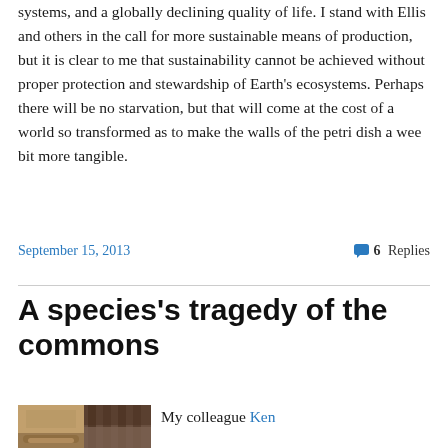systems, and a globally declining quality of life. I stand with Ellis and others in the call for more sustainable means of production, but it is clear to me that sustainability cannot be achieved without proper protection and stewardship of Earth's ecosystems. Perhaps there will be no starvation, but that will come at the cost of a world so transformed as to make the walls of the petri dish a wee bit more tangible.
September 15, 2013
6 Replies
A species's tragedy of the commons
[Figure (photo): Two side-by-side thumbnail photos showing construction or excavation scenes with pipes and wooden structures.]
My colleague Ken